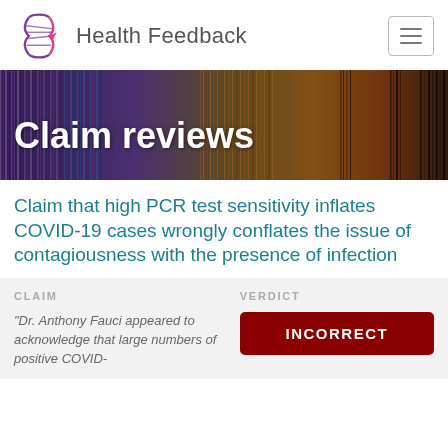Health Feedback
[Figure (photo): Banner image of blurred colorful gel electrophoresis strips in purple, blue, orange and brown tones with text 'Claim reviews' overlaid in white bold font]
Claim that high PCR test sensitivity inflates COVID-19 cases wrongly conflates the issue of contagiousness with the presence of infection
CLAIM
VERDICT
"Dr. Anthony Fauci appeared to acknowledge that large numbers of positive COVID-
INCORRECT